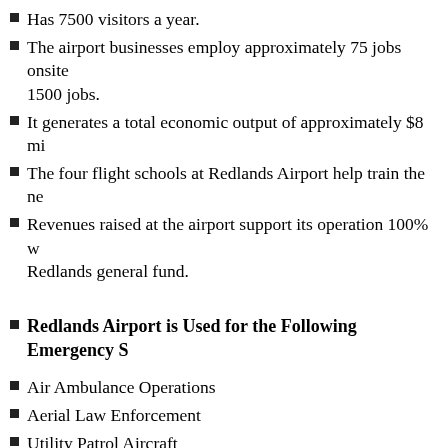Has 7500 visitors a year.
The airport businesses employ approximately 75 jobs onsite and indirectly support 1500 jobs.
It generates a total economic output of approximately $8 mi[llion].
The four flight schools at Redlands Airport help train the ne[xt generation of pilots].
Revenues raised at the airport support its operation 100% w[ithout drawing from the] Redlands general fund.
Redlands Airport is Used for the Following Emergency S[ervices]:
Air Ambulance Operations
Aerial Law Enforcement
Utility Patrol Aircraft
Wildfire Control by USFS and Cal Fire
Redlands Municipal is your Com[munity Airport]
For More Information about our airp[ort]